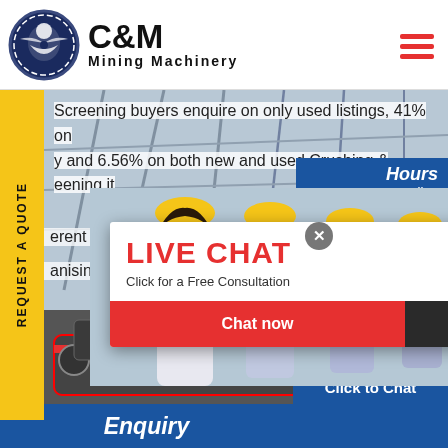[Figure (logo): C&M Mining Machinery logo with eagle gear emblem in dark navy circle, text 'C&M Mining Machinery']
Screening buyers enquire on only used listings, 41% on new and 6.56% on both new and used Crushing & Screening it... 214 ... erent Cr... anising f...
[Figure (screenshot): Live chat popup overlay showing workers in hard hats, LIVE CHAT heading in red, Click for a Free Consultation subtitle, Chat now (red) and Chat later (dark) buttons, close X button]
[Figure (photo): Customer support agent woman with headset smiling, next to Click to Chat button and Enquiry text area]
REQUEST A QUOTE
Click to Chat
Enquiry